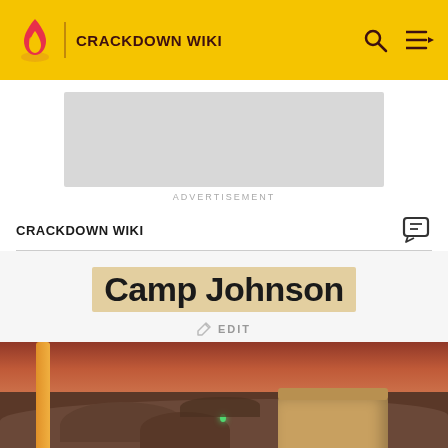Crackdown Wiki
[Figure (screenshot): Advertisement placeholder - grey rectangle]
ADVERTISEMENT
CRACKDOWN WIKI
Camp Johnson
EDIT
[Figure (photo): In-game screenshot of Camp Johnson location showing a post-apocalyptic military base with orange/red sky, rocky terrain, a large pole/post on the left, and a sandy fortified building structure on the right]